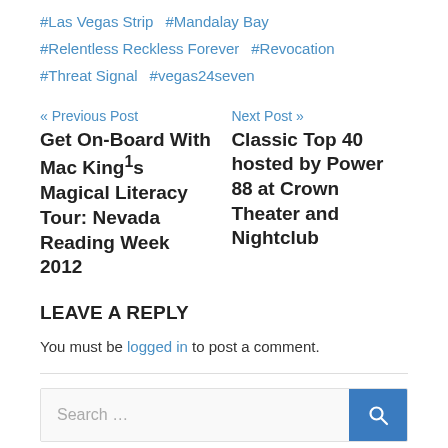#Las Vegas Strip  #Mandalay Bay  #Relentless Reckless Forever  #Revocation  #Threat Signal  #vegas24seven
« Previous Post
Get On-Board With Mac King¹s Magical Literacy Tour: Nevada Reading Week 2012
Next Post »
Classic Top 40 hosted by Power 88 at Crown Theater and Nightclub
LEAVE A REPLY
You must be logged in to post a comment.